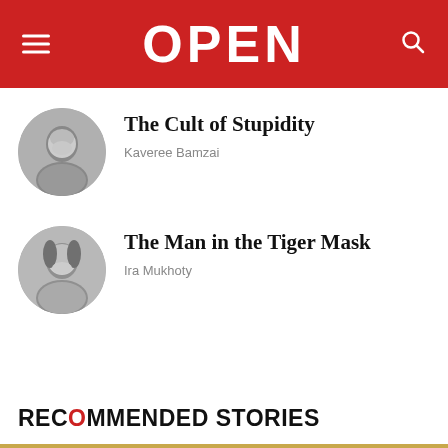OPEN
The Cult of Stupidity
Kaveree Bamzai
The Man in the Tiger Mask
Ira Mukhoty
RECOMMENDED STORIES